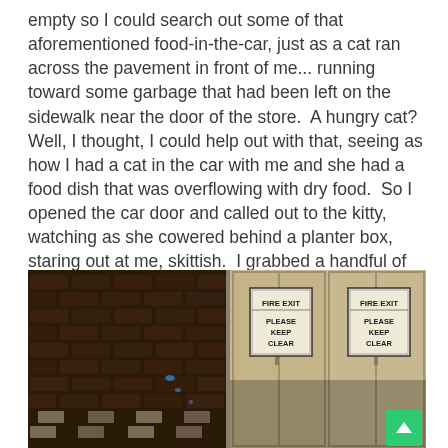empty so I could search out some of that aforementioned food-in-the-car, just as a cat ran across the pavement in front of me... running toward some garbage that had been left on the sidewalk near the door of the store.  A hungry cat?  Well, I thought, I could help out with that, seeing as how I had a cat in the car with me and she had a food dish that was overflowing with dry food.  So I opened the car door and called out to the kitty, watching as she cowered behind a planter box, staring out at me, skittish.  I grabbed a handful of the dry food and, quietly speaking words to the cat to let her know I wasn't going to chase her, I carefully placed the food
[Figure (photo): Dark nighttime photo showing a brick wall on the left and two beige double doors in the center/right. Each door has a sign reading 'FIRE EXIT PLEASE KEEP CLEAR'. There is a green scroll-to-top button in the bottom right corner.]